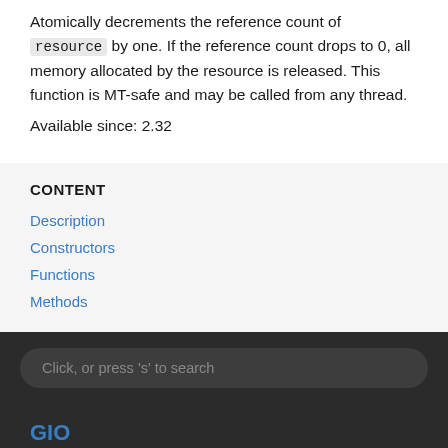Atomically decrements the reference count of resource by one. If the reference count drops to 0, all memory allocated by the resource is released. This function is MT-safe and may be called from any thread.
Available since: 2.32
CONTENT
Description
Constructors
Functions
Methods
Click, or press 's' to search
GIO
API Version: 2.0
Library Version: 2.72